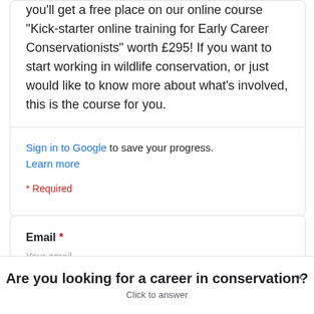you'll get a free place on our online course "Kick-starter online training for Early Career Conservationists" worth £295! If you want to start working in wildlife conservation, or just would like to know more about what's involved, this is the course for you.
Sign in to Google to save your progress. Learn more
* Required
Email *
Your email
Are you looking for a career in conservation? Click to answer